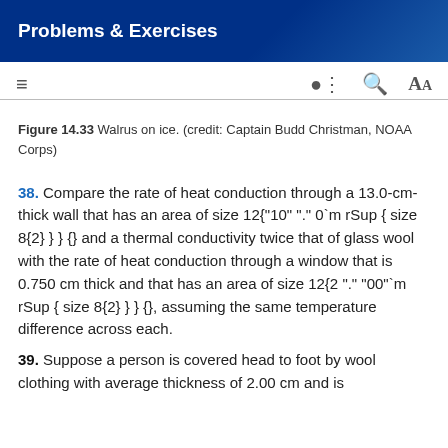Problems & Exercises
Figure 14.33 Walrus on ice. (credit: Captain Budd Christman, NOAA Corps)
38. Compare the rate of heat conduction through a 13.0-cm-thick wall that has an area of size 12{"10" "." 0`m rSup { size 8{2} } } {} and a thermal conductivity twice that of glass wool with the rate of heat conduction through a window that is 0.750 cm thick and that has an area of size 12{2 "." "00"`m rSup { size 8{2} } } {}, assuming the same temperature difference across each.
39. Suppose a person is covered head to foot by wool clothing with average thickness of 2.00 cm and is